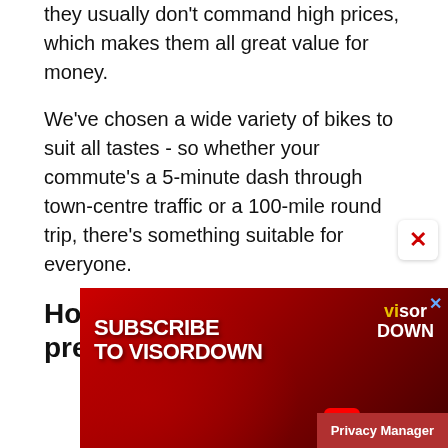they usually don't command high prices, which makes them all great value for money.
We've chosen a wide variety of bikes to suit all tastes - so whether your commute's a 5-minute dash through town-centre traffic or a 100-mile round trip, there's something suitable for everyone.
Honda CG125 1985 - present
[Figure (screenshot): Advertisement banner for Visordown YouTube channel subscription, red background with motorcycle rider silhouette, showing Subscribe to Visordown text and YouTube logo]
Privacy Manager